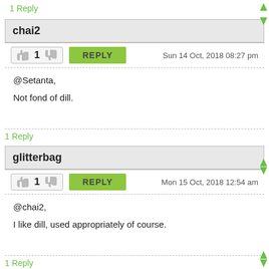1 Reply
chai2
1  REPLY  Sun 14 Oct, 2018 08:27 pm
@Setanta,
Not fond of dill.
1 Reply
glitterbag
1  REPLY  Mon 15 Oct, 2018 12:54 am
@chai2,
I like dill, used appropriately of course.
1 Reply
izzythepush